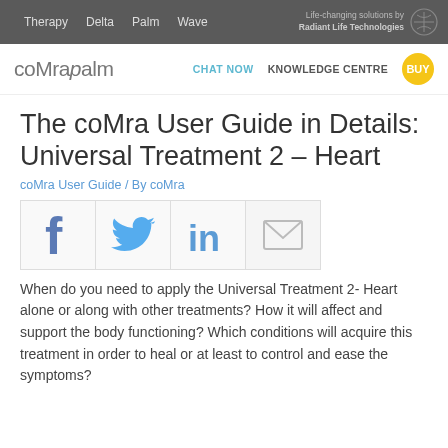Therapy   Delta   Palm   Wave   Life-changing solutions by Radiant Life Technologies
coMrapalm   CHAT NOW   KNOWLEDGE CENTRE   BUY
The coMra User Guide in Details: Universal Treatment 2 – Heart
coMra User Guide / By coMra
[Figure (infographic): Social sharing icons: Facebook, Twitter, LinkedIn, Email]
When do you need to apply the Universal Treatment 2- Heart alone or along with other treatments? How it will affect and support the body functioning? Which conditions will acquire this treatment in order to heal or at least to control and ease the symptoms?